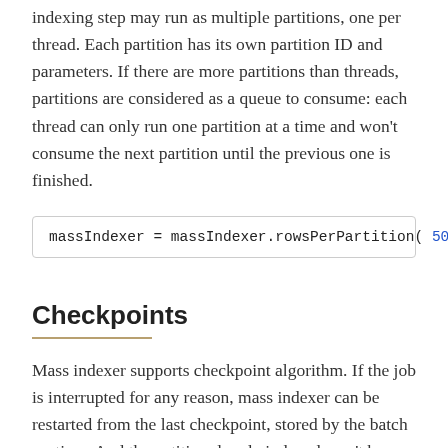indexing step may run as multiple partitions, one per thread. Each partition has its own partition ID and parameters. If there are more partitions than threads, partitions are considered as a queue to consume: each thread can only run one partition at a time and won't consume the next partition until the previous one is finished.
massIndexer = massIndexer.rowsPerPartition( 500 )
Checkpoints
Mass indexer supports checkpoint algorithm. If the job is interrupted for any reason, mass indexer can be restarted from the last checkpoint, stored by the batch runtime. And the entities already indexed won't be lost, because they are already flushed to the directory provider. Assume that N is the value of checkpoint frequency, then